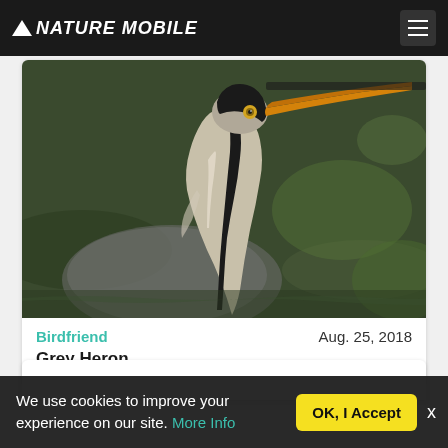NATURE MOBILE
[Figure (photo): Close-up photograph of a Grey Heron head and neck, showing orange beak, yellow eye, black and white plumage, with blurred green water and rocks in background]
Birdfriend   Aug. 25, 2018
Grey Heron
We use cookies to improve your experience on our site. More Info
OK, I Accept